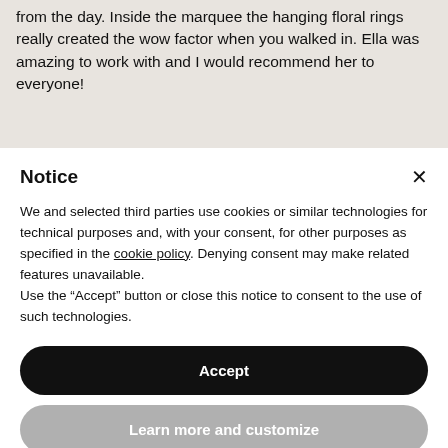from the day. Inside the marquee the hanging floral rings really created the wow factor when you walked in. Ella was amazing to work with and I would recommend her to everyone!
Notice
We and selected third parties use cookies or similar technologies for technical purposes and, with your consent, for other purposes as specified in the cookie policy. Denying consent may make related features unavailable.
Use the “Accept” button or close this notice to consent to the use of such technologies.
Accept
Learn more and customize